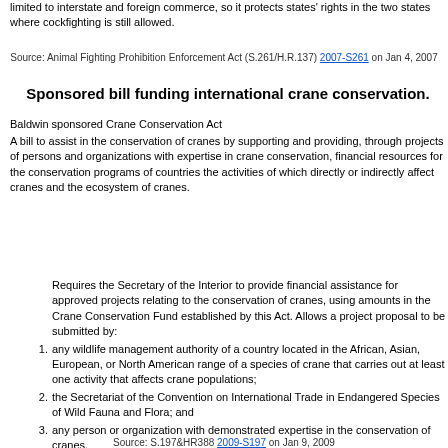limited to interstate and foreign commerce, so it protects states' rights in the two states where cockfighting is still allowed.
Source: Animal Fighting Prohibition Enforcement Act (S.261/H.R.137) 2007-S261 on Jan 4, 2007
Sponsored bill funding international crane conservation.
Baldwin sponsored Crane Conservation Act
A bill to assist in the conservation of cranes by supporting and providing, through projects of persons and organizations with expertise in crane conservation, financial resources for the conservation programs of countries the activities of which directly or indirectly affect cranes and the ecosystem of cranes.
Requires the Secretary of the Interior to provide financial assistance for approved projects relating to the conservation of cranes, using amounts in the Crane Conservation Fund established by this Act. Allows a project proposal to be submitted by:
any wildlife management authority of a country located in the African, Asian, European, or North American range of a species of crane that carries out at least one activity that affects crane populations;
the Secretariat of the Convention on International Trade in Endangered Species of Wild Fauna and Flora; and
any person or organization with demonstrated expertise in the conservation of cranes.
Establishes the Crane Conservation Fund in the Multinational Species Conservation Fund.
Authorizes the Secretary to convene an advisory group representing public and private organizations actively involved in the conservation of cranes to assist in carrying out this Act.
Source: S.197&HR388 2009-S197 on Jan 9, 2009